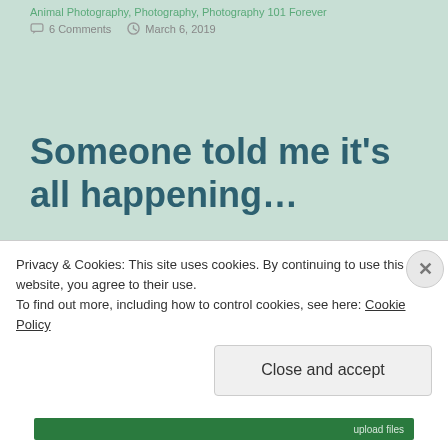Animal Photography, Photography, Photography 101 Forever
6 Comments   March 6, 2019
Someone told me it's all happening…
[Categories: Travel, Photography, Photography 101 Forever] [Photos here are hosted on
Privacy & Cookies: This site uses cookies. By continuing to use this website, you agree to their use.
To find out more, including how to control cookies, see here: Cookie Policy
Close and accept